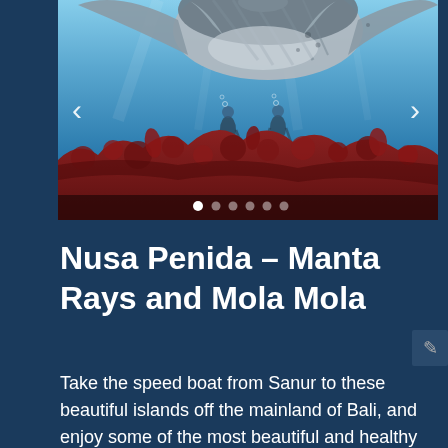[Figure (photo): Underwater photo showing underside of a large manta ray or shark with divers visible in the blue water background, and vibrant red coral reef in the foreground. Carousel navigation arrows (< and >) visible on sides, with dot indicators at the bottom showing 6 slides, first dot active.]
Nusa Penida – Manta Rays and Mola Mola
Take the speed boat from Sanur to these beautiful islands off the mainland of Bali, and enjoy some of the most beautiful and healthy reefs in Bali. The